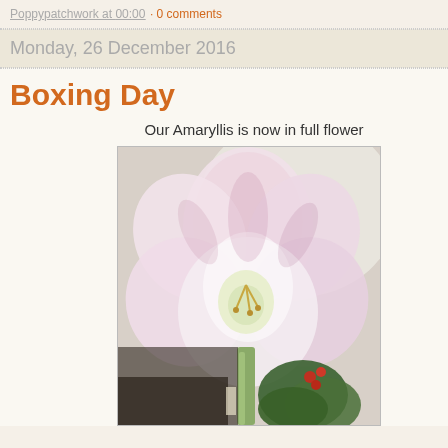Poppypatchwork at 00:00 · 0 comments
Monday, 26 December 2016
Boxing Day
Our Amaryllis is now in full flower
[Figure (photo): Close-up photograph of a white and pink Amaryllis flower in full bloom, with a stem visible at the bottom and green foliage and red berries in the background]